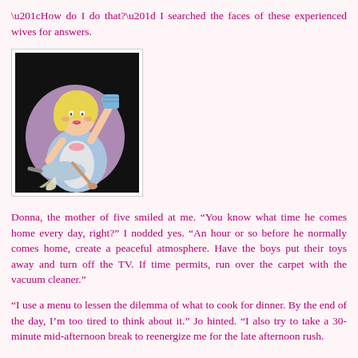“How do I do that?” I searched the faces of these experienced wives for answers.
[Figure (illustration): Cartoon illustration of a 1950s-style housewife holding a measuring cup and a frying pan with a wooden spoon, wearing an apron, on a black background with a purple oval shape behind her.]
Donna, the mother of five smiled at me. “You know what time he comes home every day, right?” I nodded yes. “An hour or so before he normally comes home, create a peaceful atmosphere. Have the boys put their toys away and turn off the TV. If time permits, run over the carpet with the vacuum cleaner.”
“I use a menu to lessen the dilemma of what to cook for dinner. By the end of the day, I’m too tired to think about it.” Jo hinted. “I also try to take a 30-minute mid-afternoon break to reenergize me for the late afternoon rush.